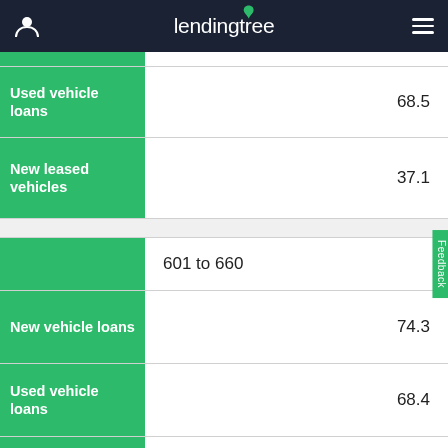LendingTree
| Loan Type | Value |
| --- | --- |
| Used vehicle loans | 68.5 |
| New leased vehicles | 37.1 |
| 601 to 660 |  |
| New vehicle loans | 74.3 |
| Used vehicle loans | 68.4 |
| New leased vehicles | 37.4 |